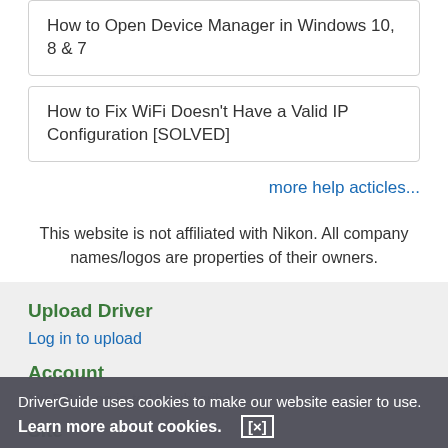How to Open Device Manager in Windows 10, 8 & 7
How to Fix WiFi Doesn't Have a Valid IP Configuration [SOLVED]
more help acticles...
This website is not affiliated with Nikon. All company names/logos are properties of their owners.
Upload Driver
Log in to upload
Account
My DG | Log in to Unsubscribe
Site
DriverGuide uses cookies to make our website easier to use.
Learn more about cookies.  [×]